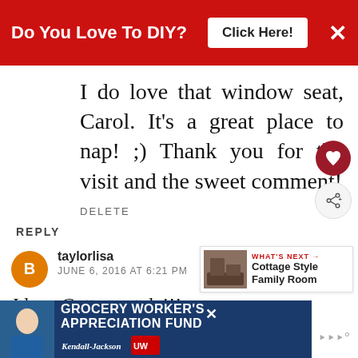Do You Love To DIY? Click Here!
I do love that window seat, Carol. It's a great place to nap! ;) Thank you for the visit and the sweet comment!
DELETE
REPLY
taylorlisa
JUNE 6, 2016 AT 6:21 PM
I love Cottage style!!!
[Figure (infographic): WHAT'S NEXT arrow with thumbnail image of Cottage Style Family Room]
[Figure (infographic): Grocery Worker's Appreciation Fund advertisement banner with Kendall Jackson and United Way logos]